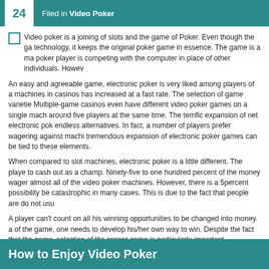24  Filed in Video Poker
Video poker is a joining of slots and the game of Poker. Even though the ga technology, it keeps the original poker game in essence. The game is a ma poker player is competing with the computer in place of other individuals. Howev
An easy and agreeable game, electronic poker is very liked among players of a machines in casinos has increased at a fast rate. The selection of game varietie Multiple-game casinos even have different video poker games on a single mach around five players at the same time. The terrific expansion of net electronic pok endless alternatives. In fact, a number of players prefer wagering against machi tremendous expansion of electronic poker games can be tied to these elements.
When compared to slot machines, electronic poker is a little different. The playe to cash out as a champ. Ninety-five to one hundred percent of the money wager almost all of the video poker machines. However, there is a 5percent possibility be catastrophic in many cases. This is due to the fact that people are do not usu
A player can't count on all his winning opportunities to be changed into money. a of the game, one needs to develop his/her own way to win. Despite the fact that the game, selection of the proper game is particularly important.
How to Enjoy Video Poker